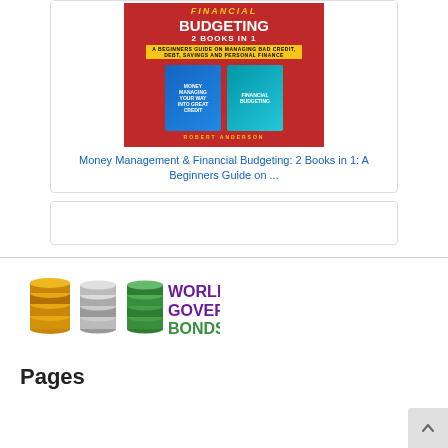[Figure (illustration): Book cover for 'Money Management & Financial Budgeting: 2 Books in 1' by Robert Anderson, showing a red cover with two smaller book covers depicted on it]
Money Management & Financial Budgeting: 2 Books in 1: A Beginners Guide on ...
[Figure (other): Empty card placeholder]
[Figure (logo): World Government Bonds logo with stacked coin/layer icons in gold, silver, and green beside the text]
Pages